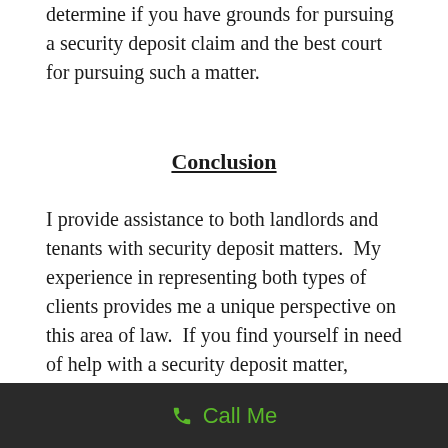determine if you have grounds for pursuing a security deposit claim and the best court for pursuing such a matter.
Conclusion
I provide assistance to both landlords and tenants with security deposit matters.  My experience in representing both types of clients provides me a unique perspective on this area of law.  If you find yourself in need of help with a security deposit matter, contact me for a consultation.
Call Me